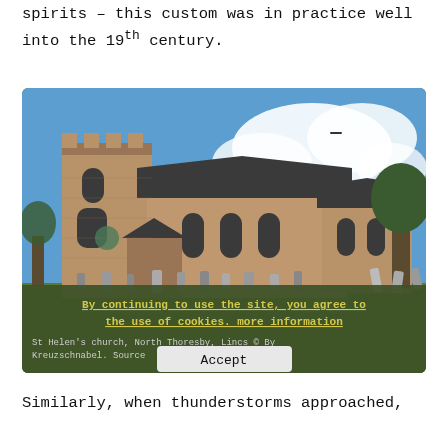spirits – this custom was in practice well into the 19th century.
[Figure (photo): Photograph of St Helen's church, North Thoresby, Lincs. A medieval stone church with a square tower, pointed Gothic windows, slate roof, and a graveyard in the foreground with headstones on green grass, under a blue sky with white clouds. A cookie consent overlay is displayed at the bottom of the image reading 'By continuing to use the site, you agree to the use of cookies. more information' with an Accept button.]
St Helen's church, North Thoresby, Lincs © By Kreuzschnabel. Source
Similarly, when thunderstorms approached,